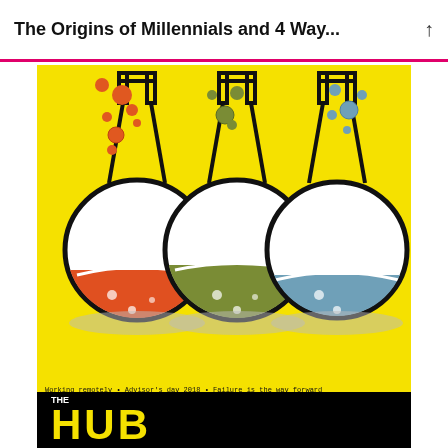The Origins of Millennials and 4 Way...
[Figure (illustration): Three laboratory flask/beaker illustrations on a yellow background: left flask contains red/orange liquid with orange bubbles floating above, center flask contains olive/green liquid with green bubbles, right flask contains blue-gray liquid with blue bubbles. Gray shadows beneath the flasks.]
Working remotely • Advisor's day 2018 • Failure is the way forward
Sales incubator • Marketing secrets 101 • The power of stillness
Best business reads 2018 • How to build your own app • And much more
[Figure (logo): THE HUB logo: word THE in small white text above large bold yellow HUB letters on black background]